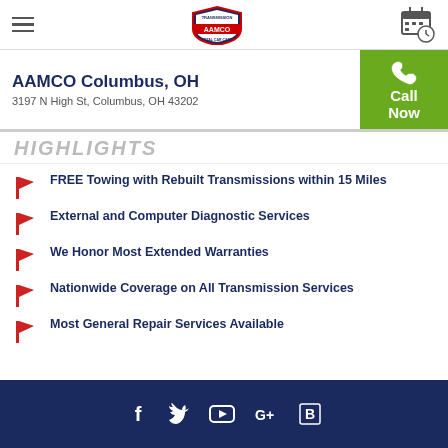AAMCO logo header with hamburger menu and calendar icon
AAMCO Columbus, OH
3197 N High St, Columbus, OH 43202
Call Now
HIGHLIGHTS (partially visible)
FREE Towing with Rebuilt Transmissions within 15 Miles
External and Computer Diagnostic Services
We Honor Most Extended Warranties
Nationwide Coverage on All Transmission Services
Most General Repair Services Available
Social media icons: Facebook, Twitter, YouTube, Google+, Bing